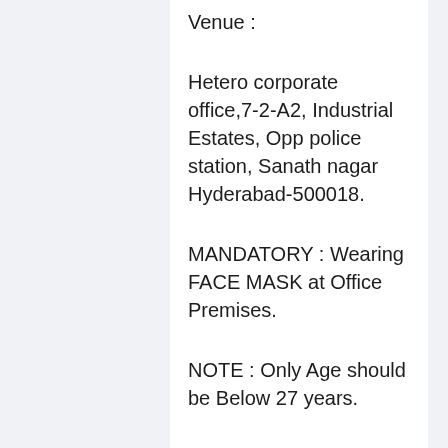Venue :
Hetero corporate office,7-2-A2, Industrial Estates, Opp police station, Sanath nagar Hyderabad-500018.
MANDATORY : Wearing FACE MASK at Office Premises.
NOTE : Only Age should be Below 27 years.
Documents to be Carried: Updated Resume ,2 Photo copies , Certificate Xerox's
More Job Updates Join what's App and Telegram Groups – Click